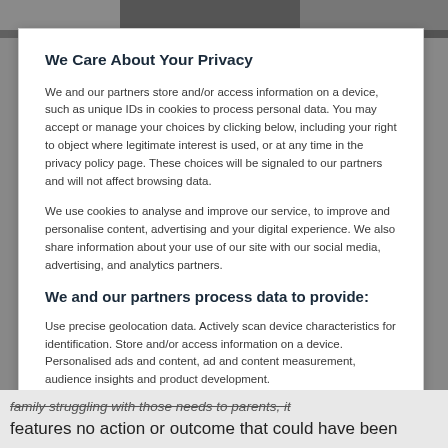[Figure (photo): Top portion of a background image, partially visible behind the privacy modal overlay]
We Care About Your Privacy
We and our partners store and/or access information on a device, such as unique IDs in cookies to process personal data. You may accept or manage your choices by clicking below, including your right to object where legitimate interest is used, or at any time in the privacy policy page. These choices will be signaled to our partners and will not affect browsing data.
We use cookies to analyse and improve our service, to improve and personalise content, advertising and your digital experience. We also share information about your use of our site with our social media, advertising, and analytics partners.
We and our partners process data to provide:
Use precise geolocation data. Actively scan device characteristics for identification. Store and/or access information on a device. Personalised ads and content, ad and content measurement, audience insights and product development.
List of Partners (vendors)
family struggling with those needs to parents, it features no action or outcome that could have been